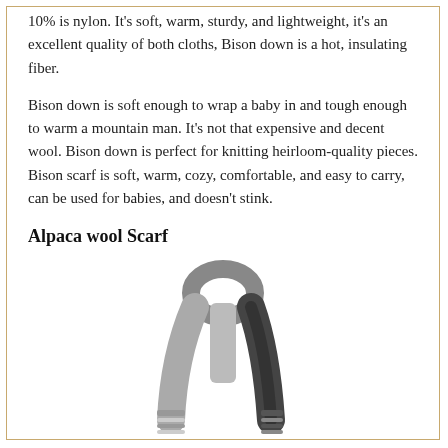10% is nylon. It's soft, warm, sturdy, and lightweight, it's an excellent quality of both cloths, Bison down is a hot, insulating fiber.
Bison down is soft enough to wrap a baby in and tough enough to warm a mountain man. It's not that expensive and decent wool. Bison down is perfect for knitting heirloom-quality pieces. Bison scarf is soft, warm, cozy, comfortable, and easy to carry, can be used for babies, and doesn't stink.
Alpaca wool Scarf
[Figure (photo): A grey and dark grey/black alpaca wool scarf looped at the top, hanging down with a striped pattern at the bottom end.]